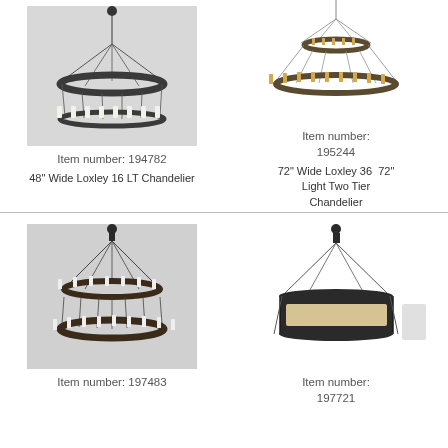[Figure (photo): 48 inch Wide Loxley 16 LT Chandelier product photo on gray background]
Item number: 194782
48" Wide Loxley 16 LT Chandelier
[Figure (photo): 72 inch Wide Loxley 36 Light Two Tier Chandelier product photo on white background]
Item number:
195244
72" Wide Loxley 36 72"
Light Two Tier
Chandelier
[Figure (photo): Chandelier product photo item 197483 on gray background]
Item number: 197483
[Figure (photo): Chandelier product photo item 197721 on white background]
Item number:
197721